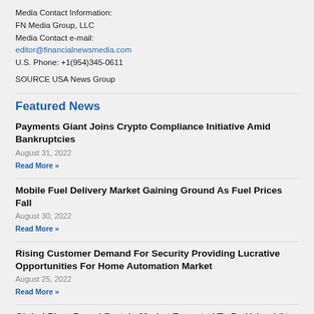Media Contact Information:
FN Media Group, LLC
Media Contact e-mail:
editor@financialnewsmedia.com
U.S. Phone: +1(954)345-0611
SOURCE USA News Group
Featured News
Payments Giant Joins Crypto Compliance Initiative Amid Bankruptcies
August 31, 2022
Read More »
Mobile Fuel Delivery Market Gaining Ground As Fuel Prices Fall
August 30, 2022
Read More »
Rising Customer Demand For Security Providing Lucrative Opportunities For Home Automation Market
August 25, 2022
Read More »
Global Plant Based Protein Market Expected To Be Valued At $34.5 Billion By 2032